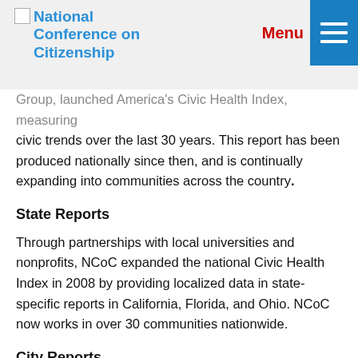National Conference on Citizenship | Menu
Group, launched America's Civic Health Index, measuring civic trends over the last 30 years. This report has been produced nationally since then, and is continually expanding into communities across the country.
State Reports
Through partnerships with local universities and nonprofits, NCoC expanded the national Civic Health Index in 2008 by providing localized data in state-specific reports in California, Florida, and Ohio. NCoC now works in over 30 communities nationwide.
City Reports
The Edward M. Kennedy Serve America Act expanded the